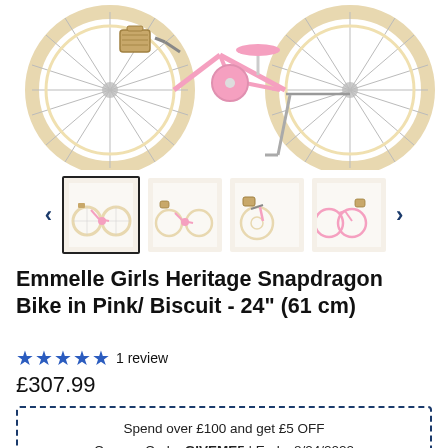[Figure (photo): Pink girls heritage bike with cream/biscuit tires, wicker basket on front, and kickstand. Cropped view showing mainly the wheels and lower frame area.]
[Figure (photo): Thumbnail carousel showing four small images of the Emmelle Girls Heritage Snapdragon Bike from different angles. First thumbnail is selected (outlined in black). Navigation arrows on left and right.]
Emmelle Girls Heritage Snapdragon Bike in Pink/ Biscuit - 24" (61 cm)
★★★★★ 1 review
£307.99
Spend over £100 and get £5 OFF
Coupon Code: GIVEME5 | Ends: 8/24/2022